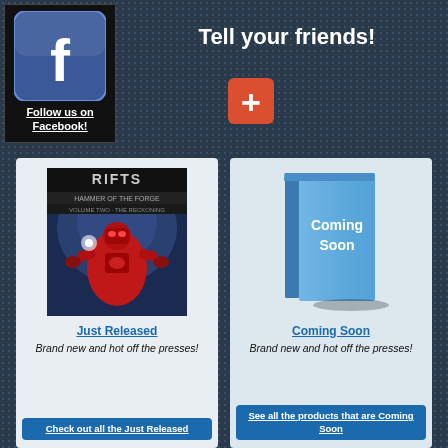[Figure (logo): Facebook logo icon - blue rounded square with white 'f']
Follow us on Facebook!
Tell your friends!
[Figure (illustration): Red plus button/icon on orange-red rounded square background]
[Figure (illustration): RIFTS comic book cover - Hammer of the Forge Volume Two - red robotic figure]
Just Released
Brand new and hot off the presses!
Check out all the Just Released
[Figure (illustration): Blue book with Coming Soon text on cover]
Coming Soon
Brand new and hot off the presses!
See all the products that are Coming Soon